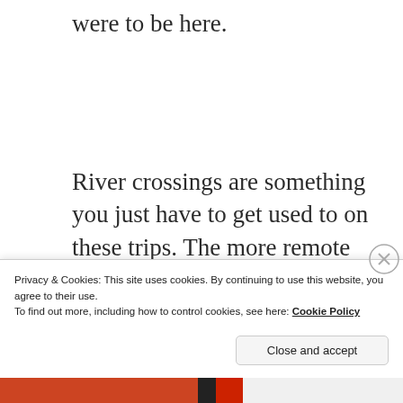were to be here.
River crossings are something you just have to get used to on these trips. The more remote an area the less likely it is to have bridges where and when needed and after all, that's
Privacy & Cookies: This site uses cookies. By continuing to use this website, you agree to their use.
To find out more, including how to control cookies, see here: Cookie Policy
Close and accept